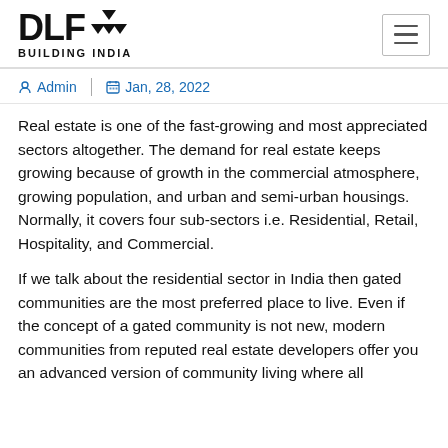DLF BUILDING INDIA
Admin  |  Jan, 28, 2022
Real estate is one of the fast-growing and most appreciated sectors altogether. The demand for real estate keeps growing because of growth in the commercial atmosphere, growing population, and urban and semi-urban housings. Normally, it covers four sub-sectors i.e. Residential, Retail, Hospitality, and Commercial.
If we talk about the residential sector in India then gated communities are the most preferred place to live. Even if the concept of a gated community is not new, modern communities from reputed real estate developers offer you an advanced version of community living where all